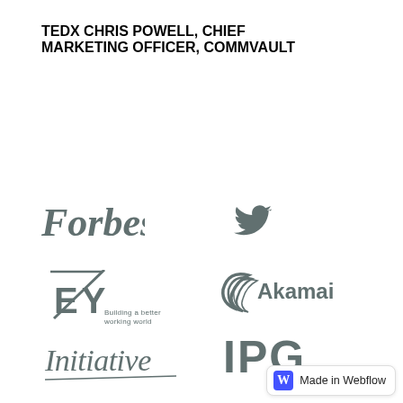TEDX CHRIS POWELL, CHIEF MARKETING OFFICER, COMMVAULT
[Figure (logo): Forbes logo in grey]
[Figure (logo): Twitter bird logo in grey]
[Figure (logo): EY Building a better working world logo in grey]
[Figure (logo): Akamai logo in grey]
[Figure (logo): Initiative script logo in grey]
[Figure (logo): IPG logo in grey]
[Figure (logo): Credit Suisse logo partially visible at bottom]
[Figure (logo): Dow Jones logo partially visible at bottom]
Made in Webflow